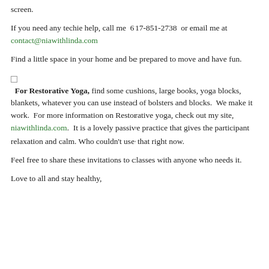screen.
If you need any techie help, call me  617-851-2738  or email me at contact@niawithlinda.com
Find a little space in your home and be prepared to move and have fun.
For Restorative Yoga, find some cushions, large books, yoga blocks, blankets, whatever you can use instead of bolsters and blocks.  We make it work.  For more information on Restorative yoga, check out my site, niawithlinda.com.  It is a lovely passive practice that gives the participant relaxation and calm. Who couldn't use that right now.
Feel free to share these invitations to classes with anyone who needs it.
Love to all and stay healthy,